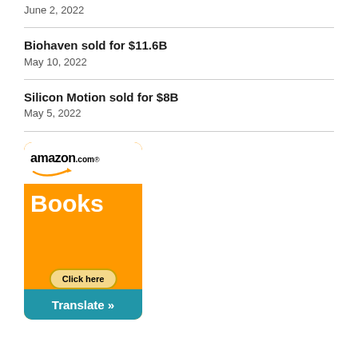June 2, 2022
Biohaven sold for $11.6B
May 10, 2022
Silicon Motion sold for $8B
May 5, 2022
[Figure (other): Amazon.com Books advertisement banner with orange background, Books text, Click here button, Privacy Information link, and Translate button at bottom]